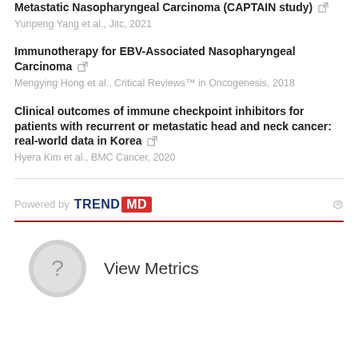Metastatic Nasopharyngeal Carcinoma (CAPTAIN study)
Yunpeng Yang et al., Jitc, 2021
Immunotherapy for EBV-Associated Nasopharyngeal Carcinoma
Mengying Hong et al., Critical Reviews™ in Oncogenesis, 2018
Clinical outcomes of immune checkpoint inhibitors for patients with recurrent or metastatic head and neck cancer: real-world data in Korea
Hyera Kim et al., BMC Cancer, 2020
[Figure (logo): Powered by TREND MD logo with gear icon]
View Metrics